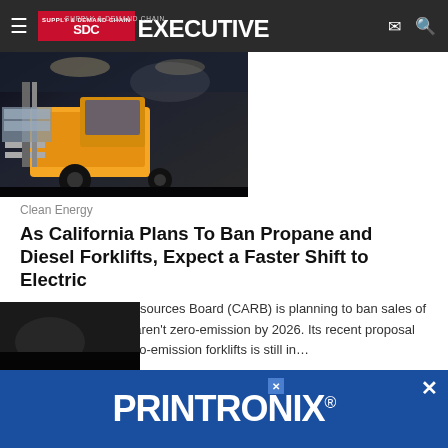SDC Supply & Demand Chain Executive
[Figure (photo): Yellow forklift in a warehouse lifting cargo, viewed from low angle]
Clean Energy
As California Plans To Ban Propane and Diesel Forklifts, Expect a Faster Shift to Electric
The California Air Resources Board (CARB) is planning to ban sales of all new forklifts that aren't zero-emission by 2026. Its recent proposal to phase out non-zero-emission forklifts is still in...
OneCharge    August 6, 2022
[Figure (photo): Partial view of another article image at the bottom of the page]
[Figure (other): PRINTRONIX advertisement banner in blue]